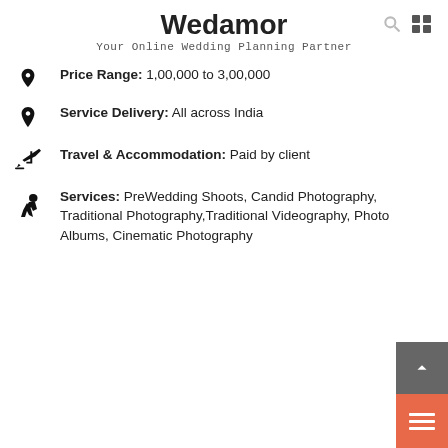Wedamor
Your Online Wedding Planning Partner
Price Range: 1,00,000 to 3,00,000
Service Delivery: All across India
Travel & Accommodation: Paid by client
Services: PreWedding Shoots, Candid Photography, Traditional Photography,Traditional Videography, Photo Albums, Cinematic Photography